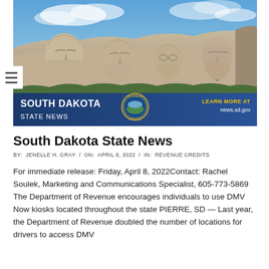[Figure (photo): Mount Rushmore photo banner with 'SOUTH DAKOTA STATE NEWS' text overlay on a blue bar at the bottom, state seal in center, and 'LEARN MORE AT news.sd.gov' in yellow text on the right.]
South Dakota State News
BY:  JENELLE H. GRAY  /  ON:  APRIL 8, 2022  /  IN:  REVENUE CREDITS
For immediate release: Friday, April 8, 2022Contact: Rachel Soulek, Marketing and Communications Specialist, 605-773-5869 The Department of Revenue encourages individuals to use DMV Now kiosks located throughout the state PIERRE, SD — Last year, the Department of Revenue doubled the number of locations for drivers to access DMV